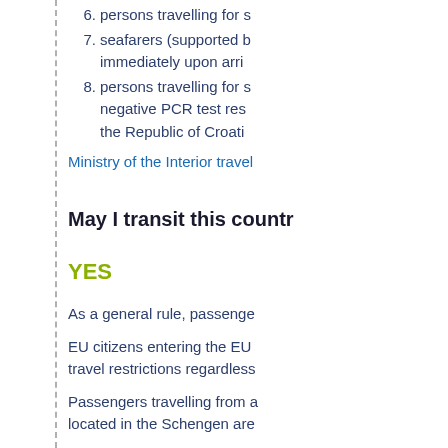6. persons travelling for s
7. seafarers (supported b... immediately upon arri...
8. persons travelling for s... negative PCR test res... the Republic of Croati...
Ministry of the Interior travel
May I transit this countr
YES
As a general rule, passenge
EU citizens entering the EU ... travel restrictions regardless
Passengers travelling from a... located in the Schengen are...